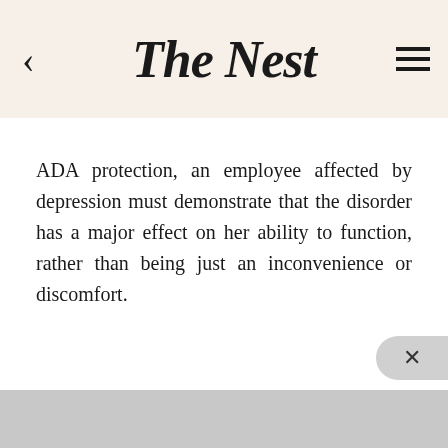The Nest
ADA protection, an employee affected by depression must demonstrate that the disorder has a major effect on her ability to function, rather than being just an inconvenience or discomfort.